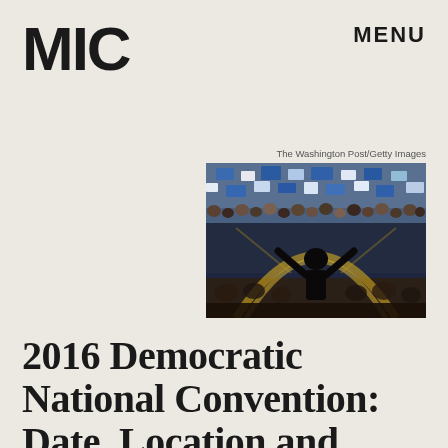MIC
MENU
The Washington Post/Getty Images
[Figure (photo): A political rally scene showing a speaker on stage with arms raised before a large crowd holding signs, photographed from behind the stage. Blue and white colors dominate the crowd.]
2016 Democratic National Convention: Date, Location and How It Works